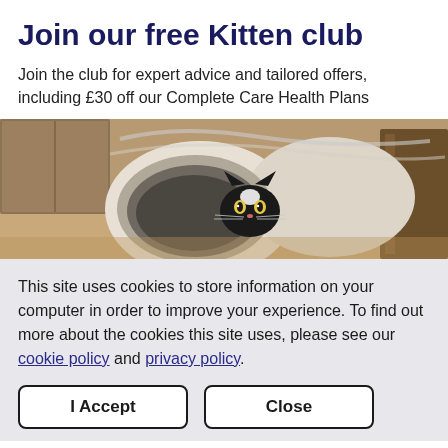Join our free Kitten club
Join the club for expert advice and tailored offers, including £30 off our Complete Care Health Plans
[Figure (photo): A black and white cat peeking through a white fabric tunnel toy on a wooden floor]
This site uses cookies to store information on your computer in order to improve your experience. To find out more about the cookies this site uses, please see our cookie policy and privacy policy.
I Accept
Close